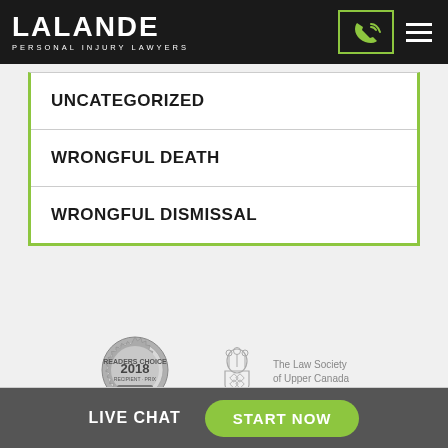[Figure (logo): Lalande Personal Injury Lawyers logo with white text on dark background]
UNCATEGORIZED
WRONGFUL DEATH
WRONGFUL DISMISSAL
[Figure (illustration): 2018 Official Winner badge/seal in grayscale]
[Figure (illustration): The Law Society of Upper Canada crest with text]
LIVE CHAT   START NOW